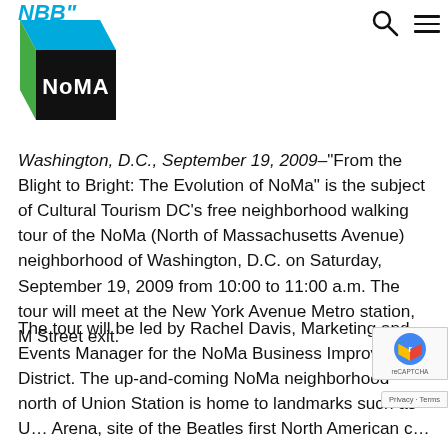[Figure (logo): NoMA BID logo - a 3D cube with green, blue, and black faces, with 'NoMA' text in white on the black face. Above the logo partial text 'NBB' visible in blue italic.]
Washington, D.C., September 19, 2009–"From the Blight to Bright: The Evolution of NoMa" is the subject of Cultural Tourism DC's free neighborhood walking tour of the NoMa (North of Massachusetts Avenue) neighborhood of Washington, D.C. on Saturday, September 19, 2009 from 10:00 to 11:00 a.m. The tour will meet at the New York Avenue Metro station, M Street exit.
The tour will be led by Rachel Davis, Marketing and Events Manager for the NoMa Business Improvement District. The up-and-coming NoMa neighborhood north of Union Station is home to landmarks such as U… Arena, site of the Beatles first North American c… in 1964. The New York Avenue Metro station opened in…